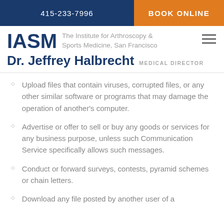415-233-7996    BOOK ONLINE
IASM The Institute for Arthroscopy & Sports Medicine, San Francisco
Dr. Jeffrey Halbrecht  MEDICAL DIRECTOR
Upload files that contain viruses, corrupted files, or any other similar software or programs that may damage the operation of another's computer.
Advertise or offer to sell or buy any goods or services for any business purpose, unless such Communication Service specifically allows such messages.
Conduct or forward surveys, contests, pyramid schemes or chain letters.
Download any file posted by another user of a